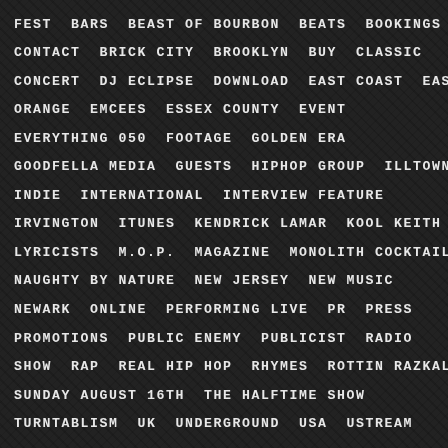FEST  BARS  BEAST OF BOURBON  BEATS  BOOKINGS
CONTACT  BRICK CITY  BROOKLYN  BUY  CLASSIC
CONCERT  DJ ECLIPSE  DOWNLOAD  EAST COAST  EAST
ORANGE  EMCEES  ESSEX COUNTY  EVENT
EVERYTHING 050  FOOTAGE  GOLDEN ERA
GOODFELLA MEDIA  GUESTS  HIPHOP GROUP  ILLTOWN
INDIE  INTERNATIONAL  INTERVIEW FEATURE
IRVINGTON  ITUNES  KENDRICK LAMAR  KOOL KEITH
LYRICISTS  M.O.P.  MAGAZINE  MONOLITH COCKTAIL
NAUGHTY BY NATURE  NEW JERSEY  NEW MUSIC
NEWARK  ONLINE  PERFORMING LIVE  PR  PRESS
PROMOTIONS  PUBLIC ENEMY  PUBLICIST  RADIO
SHOW  RAP  REAL HIP HOP  RHYMES  ROTTIN RAZKALS
SUNDAY AUGUST 16TH  THE HALFTIME SHOW
TURNTABLISM  UK  UNDERGROUND  USA  USTREAM